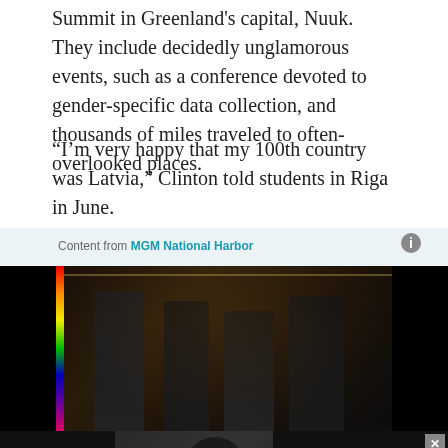Summit in Greenland's capital, Nuuk. They include decidedly unglamorous events, such as a conference devoted to gender-specific data collection, and thousands of miles traveled to often-overlooked places.
“I’m very happy that my 100th country was Latvia,” Clinton told students in Riga in June.
Content from MGM National Harbor
[Figure (photo): Photo of four people (three men and one woman) dressed in black standing in front of a venue entrance with string lights, MGM National Harbor advertisement]
[Figure (photo): MGM National Harbor bottom banner advertisement featuring The Piano Guys, September 9, with MGM logo and lion]